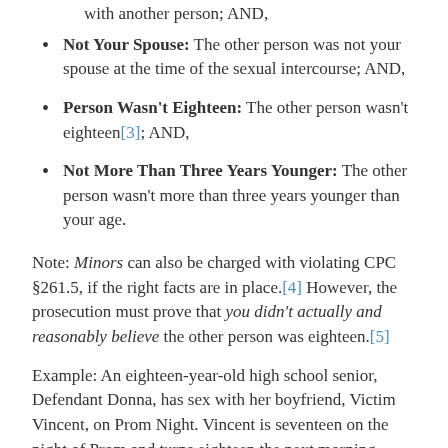with another person; AND,
Not Your Spouse: The other person was not your spouse at the time of the sexual intercourse; AND,
Person Wasn't Eighteen: The other person wasn't eighteen[3]; AND,
Not More Than Three Years Younger: The other person wasn't more than three years younger than your age.
Note: Minors can also be charged with violating CPC §261.5, if the right facts are in place.[4] However, the prosecution must prove that you didn't actually and reasonably believe the other person was eighteen.[5]
Example: An eighteen-year-old high school senior, Defendant Donna, has sex with her boyfriend, Victim Vincent, on Prom Night. Vincent is seventeen on the night of Prom and turns eighteen the next morning